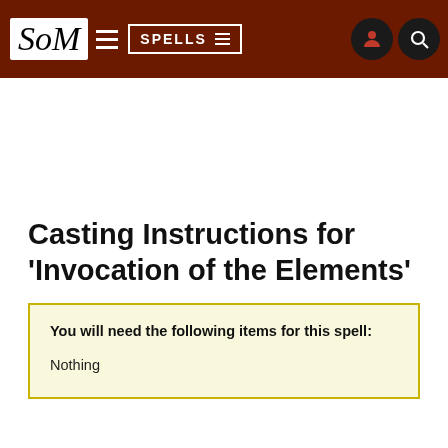SoM | SPELLS
Casting Instructions for 'Invocation of the Elements'
You will need the following items for this spell:

Nothing